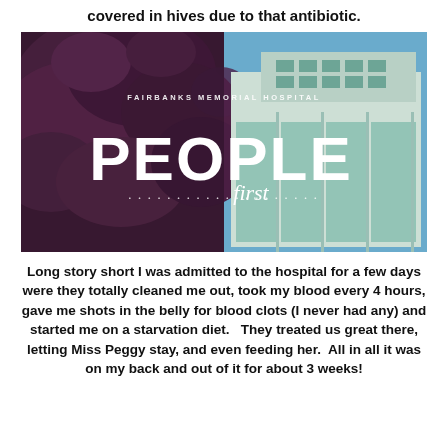covered in hives due to that antibiotic.
[Figure (photo): Fairbanks Memorial Hospital promotional image with large white text reading 'PEOPLE first' overlaid on a split image of a tree with purple/red leaves on the left and a modern hospital building on the right. Subtitle text reads 'FAIRBANKS MEMORIAL HOSPITAL'.]
Long story short I was admitted to the hospital for a few days were they totally cleaned me out, took my blood every 4 hours, gave me shots in the belly for blood clots (I never had any) and started me on a starvation diet.   They treated us great there, letting Miss Peggy stay, and even feeding her.  All in all it was on my back and out of it for about 3 weeks!